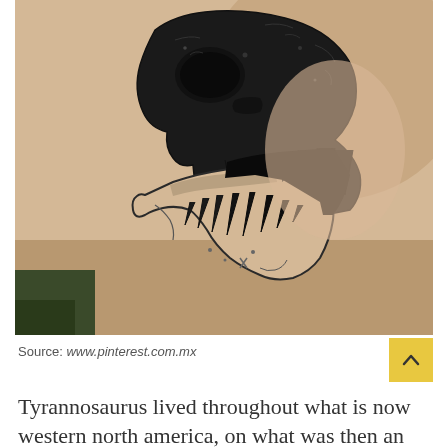[Figure (photo): Photograph of a T-Rex skull tattoo on a person's shoulder/back. The tattoo is done in black ink with detailed line work showing a side-profile dinosaur skull with open jaw and sharp teeth, rendered in a realistic illustrative style.]
Source: www.pinterest.com.mx
Tyrannosaurus lived throughout what is now western north america, on what was then an